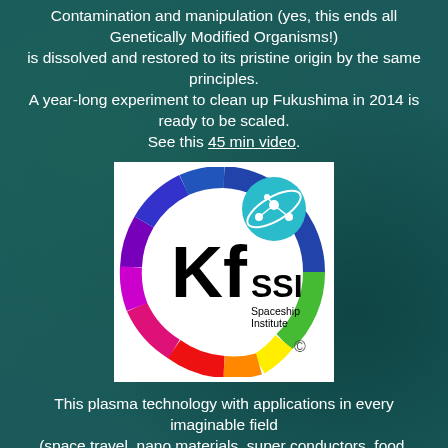Contamination and manipulation (yes, this ends all Genetically Modified Organisms!) is dissolved and restored to its pristine origin by the same principles. A year-long experiment to clean up Fukushima in 2014 is ready to be scaled. See this 45 min video.
[Figure (logo): KfSSI Spaceship Institute logo — multicolored ring (blue, green, yellow, orange, red, pink, purple) with 'Kf SSI Spaceship Institute' text inside and a teal circle with molecule/atom icon at top right, copyright symbol at bottom right]
This plasma technology with applications in every imaginable field (space travel, nano materials, super conductors, food, water, energy, health, security, etc.) was wisely patented by MT Keshe in 2005/06 and then